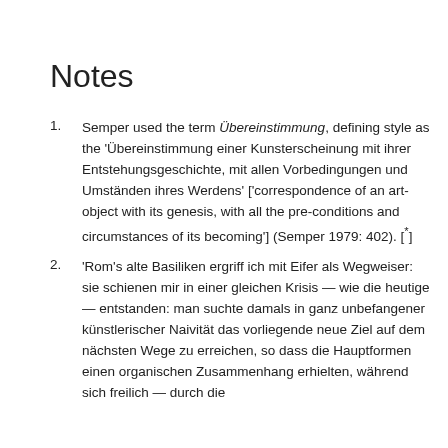Notes
Semper used the term Übereinstimmung, defining style as the 'Übereinstimmung einer Kunsterscheinung mit ihrer Entstehungsgeschichte, mit allen Vorbedingungen und Umständen ihres Werdens' ['correspondence of an art-object with its genesis, with all the pre-conditions and circumstances of its becoming'] (Semper 1979: 402). [*]
'Rom's alte Basiliken ergriff ich mit Eifer als Wegweiser: sie schienen mir in einer gleichen Krisis — wie die heutige — entstanden: man suchte damals in ganz unbefangener künstlerischer Naivität das vorliegende neue Ziel auf dem nächsten Wege zu erreichen, so dass die Hauptformen einen organischen Zusammenhang erhielten, während sich freilich — durch die